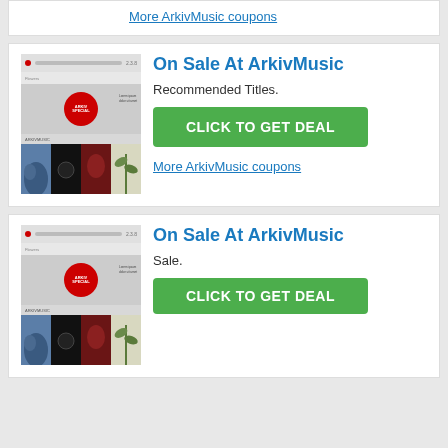More ArkivMusic coupons
On Sale At ArkivMusic
Recommended Titles.
CLICK TO GET DEAL
More ArkivMusic coupons
On Sale At ArkivMusic
Sale.
CLICK TO GET DEAL